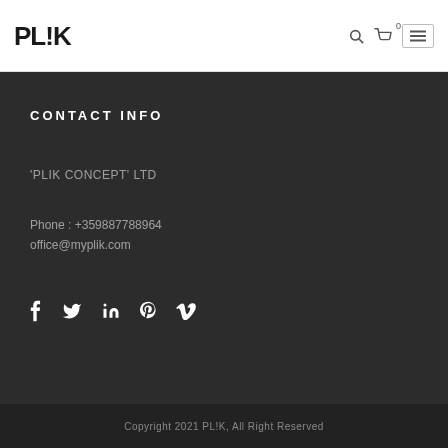PL!K
CONTACT INFO
'PLIK CONCEPT' LTD
Phone : +35988778896
office@myplik.com
[Figure (other): Social media icons row: Facebook (f), Twitter (bird), LinkedIn (in), Pinterest (P), Vimeo (V)]
Copyright 2021 PL!K, All Right Reserved